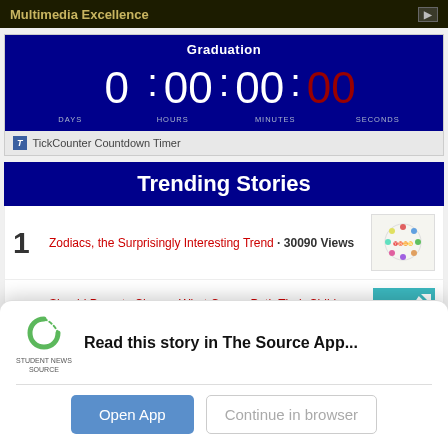Multimedia Excellence
[Figure (screenshot): Graduation countdown widget showing 0 days, 00 hours, 00 minutes, 00 seconds with TickCounter Countdown Timer label]
Trending Stories
1. Zodiacs, the Surprisingly Interesting Trend • 30090 Views
2. Should Parents Choose What Career Path Their Child Takes? • 29461 Views
Read this story in The Source App...
Open App  Continue in browser